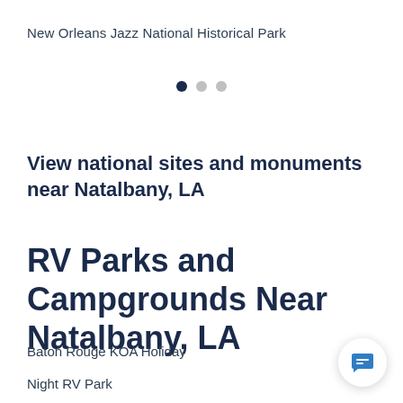New Orleans Jazz National Historical Park
[Figure (other): Pagination dots: one dark filled circle and two gray filled circles indicating a carousel position]
View national sites and monuments near Natalbany, LA
RV Parks and Campgrounds Near Natalbany, LA
Baton Rouge KOA Holiday
Night RV Park
[Figure (other): Chat bubble icon button in bottom right corner]